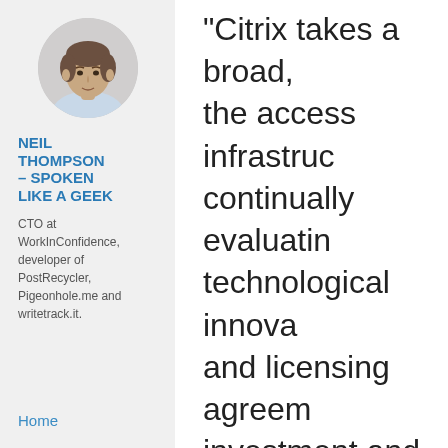[Figure (photo): Circular avatar photo of Neil Thompson, a man in a light shirt]
NEIL THOMPSON – SPOKEN LIKE A GEEK
CTO at WorkInConfidence, developer of PostRecycler, Pigeonhole.me and writetrack.it.
Home
"Citrix takes a broad, the access infrastruc continually evaluatin technological innova and licensing agreem investment and acqu opportunities," said K president of develop work AppSwing is do tremendous opportu departments that ne